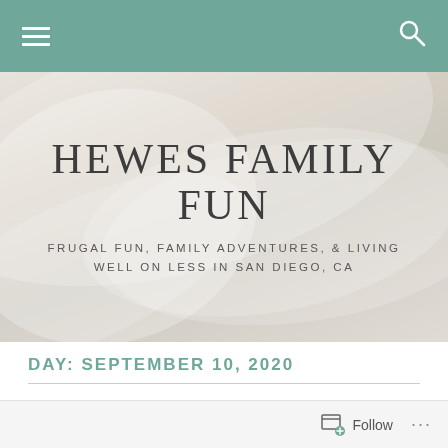Navigation bar with hamburger menu and search icon
[Figure (screenshot): Hero banner with soft cream/beige brushstroke texture background]
HEWES FAMILY FUN
FRUGAL FUN, FAMILY ADVENTURES, & LIVING WELL ON LESS IN SAN DIEGO, CA
DAY: SEPTEMBER 10, 2020
Follow ...